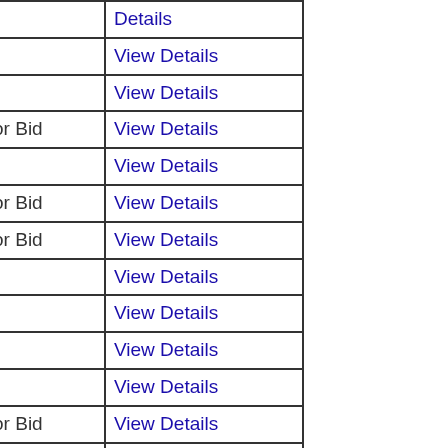| ID | Status | Action |
| --- | --- | --- |
|  | Bid | Details |
| 44024028 | SOLD | View Details |
| 44024013 | SOLD | View Details |
| 90016245786 | Open for Bid | View Details |
| 44023955 | SOLD | View Details |
| 90016242812 | Open for Bid | View Details |
| 231-103649 | Open for Bid | View Details |
| 44023827 | SOLD | View Details |
| 44023799 | SOLD | View Details |
| 44023732 | SOLD | View Details |
| 44023710 | SOLD | View Details |
| 486476 | Open for Bid | View Details |
| 486153 | Open for Bid | View Details |